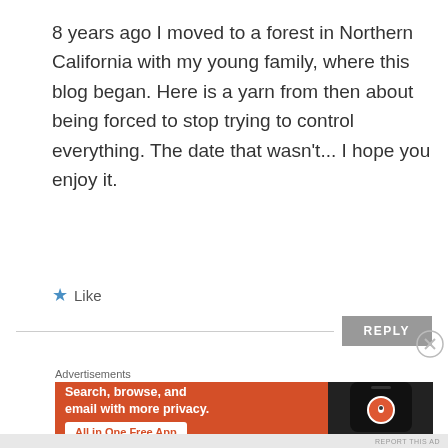8 years ago I moved to a forest in Northern California with my young family, where this blog began. Here is a yarn from then about being forced to stop trying to control everything. The date that wasn't... I hope you enjoy it.
★ Like
REPLY
Advertisements
[Figure (infographic): DuckDuckGo advertisement banner: orange background with text 'Search, browse, and email with more privacy. All in One Free App' and a phone image with DuckDuckGo logo and brand name.]